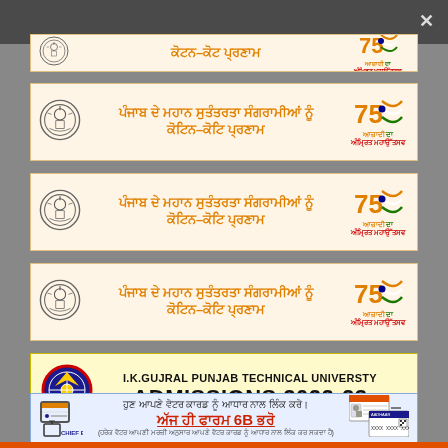[Figure (infographic): Top dark browser/app bar with close X button]
[Figure (infographic): Partial banner row with Punjab emblem, Punjabi text 'ਕੋਟਨ-ਕੋਟ ਪ੍ਰਣਾਮ', and Azadi Ka Amrit Mahotsav 75 logo]
[Figure (infographic): Banner: Punjab Govt emblem, Punjabi text 'ਪੰਜਾਬ ਦੇ ਮਹਾਨ ਸੁਤੰਤਰਤਾ ਸੰਗਰਾਮੀਆਂ ਨੂੰ ਕੋਟਿਨ-ਕੋਟਿ ਪ੍ਰਣਾਮ', Azadi 75 logo]
[Figure (infographic): Banner: Punjab Govt emblem, same Punjabi text, Azadi 75 logo]
[Figure (infographic): Banner: Punjab Govt emblem, same Punjabi text, Azadi 75 logo]
[Figure (infographic): I.K.Gujral Punjab Technical University ADMISSIONS 2022-23 banner]
[Figure (infographic): Chief Electoral Officer Punjab voter card Aadhaar linking banner with Form 6B]